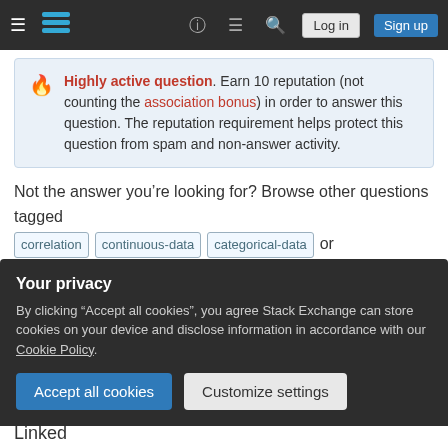Stack Exchange navigation bar with Log in and Sign up buttons
Highly active question. Earn 10 reputation (not counting the association bonus) in order to answer this question. The reputation requirement helps protect this question from spam and non-answer activity.
Not the answer you’re looking for? Browse other questions tagged correlation continuous-data categorical-data or ask your own question.
Your privacy
By clicking “Accept all cookies”, you agree Stack Exchange can store cookies on your device and disclose information in accordance with our Cookie Policy.
Linked